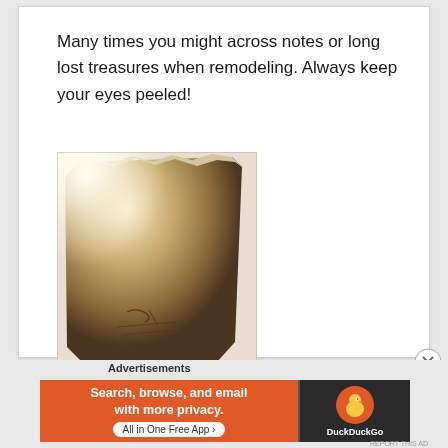Many times you might across notes or long lost treasures when remodeling. Always keep your eyes peeled!
[Figure (photo): Photo of a hole in a wall revealing a hidden note or message written on the inner surface, with debris at the bottom]
Hidden love note in the wall
Advertisements
[Figure (screenshot): DuckDuckGo advertisement banner: orange background with text 'Search, browse, and email with more privacy. All in One Free App' and DuckDuckGo duck logo on dark right panel]